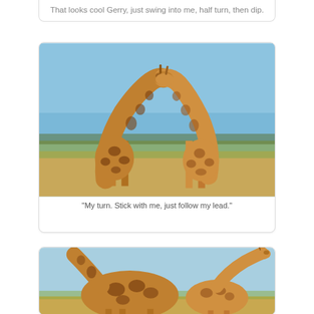That looks cool Gerry, just swing into me, half turn, then dip.
[Figure (photo): Two giraffes facing each other outdoors on a savanna, their long necks crossing and touching, forming an arch shape. Blue sky and dry grassland background.]
"My turn. Stick with me, just follow my lead."
[Figure (photo): Two giraffes on a savanna, one giraffe bending its neck low under another giraffe, blue sky background.]